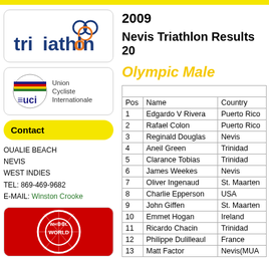[Figure (logo): Triathlon logo with interlocking rings in blue and orange]
[Figure (logo): UCI Union Cycliste Internationale logo with rainbow stripes and text]
Contact
OUALIE BEACH
NEVIS
WEST INDIES
TEL: 869-469-9682
E-MAIL: Winston Crooke
[Figure (logo): Wheel World red logo with gear and bicycle wheel]
2009
Nevis Triathlon Results 2009
Olympic Male
| Pos | Name | Country |
| --- | --- | --- |
| 1 | Edgardo V Rivera | Puerto Rico |
| 2 | Rafael Colon | Puerto Rico |
| 3 | Reginald Douglas | Nevis |
| 4 | Aneil Green | Trinidad |
| 5 | Clarance Tobias | Trinidad |
| 6 | James Weekes | Nevis |
| 7 | Oliver Ingenaud | St. Maarten |
| 8 | Charlie Epperson | USA |
| 9 | John Giffen | St. Maarten |
| 10 | Emmet Hogan | Ireland |
| 11 | Ricardo Chacin | Trinidad |
| 12 | Philippe Dulilleaul | France |
| 13 | Matt Factor | Nevis(MUA |